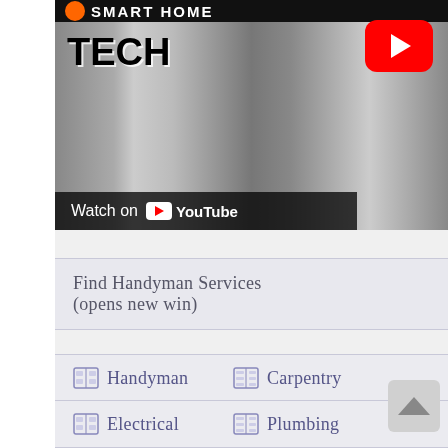[Figure (screenshot): YouTube video thumbnail showing a smart home tech video featuring a stainless steel refrigerator with a 'Watch on YouTube' overlay and a red YouTube play button in the top right]
Find Handyman Services (opens new win)
Handyman
Carpentry
Electrical
Plumbing